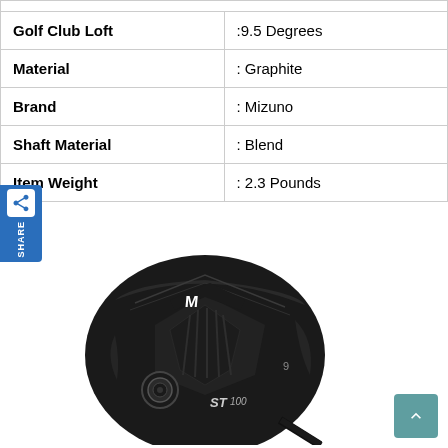| Property | Value |
| --- | --- |
| Golf Club Loft | :9.5 Degrees |
| Material | : Graphite |
| Brand | : Mizuno |
| Shaft Material | : Blend |
| Item Weight | : 2.3 Pounds |
[Figure (photo): Mizuno ST-100 golf driver club head, dark metallic finish with white Mizuno logo, showing the ST100 model text on the face, with a black shaft visible below]